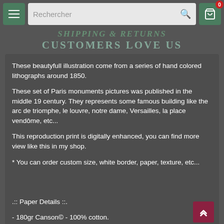SHIPPING & RETURNS
CUSTOMERS LOVE US
These beautyfull illustration come from a series of hand colored lithographs around 1850.
These set of Paris monuments pictures was published in the middle 19 century. They represents some famous building like the arc de triomphe, le louvre, notre dame, Versailles, la place vendôme, etc...
This reproduction print is digitally enhanced, you can find more view like this in my shop.
* You can order custom size, white border, paper, texture, etc...
.:: Paper Details ::.
- 180gr Canson© - 100% cotton.